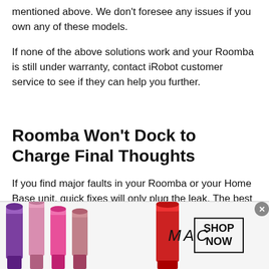mentioned above. We don't foresee any issues if you own any of these models.
If none of the above solutions work and your Roomba is still under warranty, contact iRobot customer service to see if they can help you further.
Roomba Won't Dock to Charge Final Thoughts
If you find major faults in your Roomba or your Home Base unit, quick fixes will only plug the leak. The best
[Figure (photo): MAC Cosmetics advertisement banner showing colorful lipsticks on the left, MAC logo in the center, and a SHOP NOW button on the right with a close (x) button.]